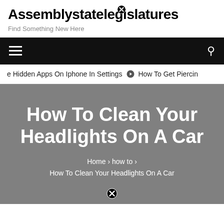Assemblystatelegislatures
Find Something New Here
e Hidden Apps On Iphone In Settings   ➡   How To Get Piercin
How To Clean Your Headlights On A Car
Home › how to › How To Clean Your Headlights On A Car